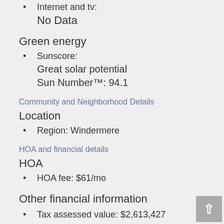Internet and tv: No Data
Green energy
Sunscore: Great solar potential Sun Number™: 94.1
Community and Neighborhood Details
Location
Region: Windermere
HOA and financial details
HOA
HOA fee: $61/mo
Other financial information
Tax assessed value: $2,613,427
Annual tax amount: $37,879